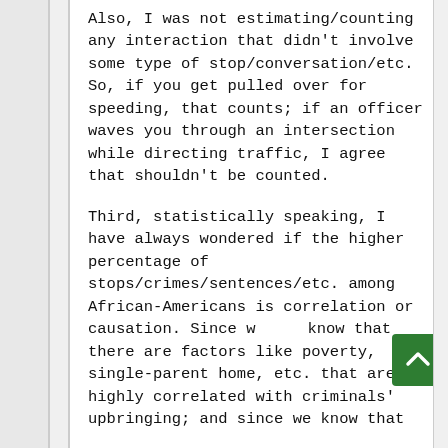Also, I was not estimating/counting any interaction that didn't involve some type of stop/conversation/etc. So, if you get pulled over for speeding, that counts; if an officer waves you through an intersection while directing traffic, I agree that shouldn't be counted.
Third, statistically speaking, I have always wondered if the higher percentage of stops/crimes/sentences/etc. among African-Americans is correlation or causation. Since we know that there are factors like poverty, single-parent home, etc. that are highly correlated with criminals' upbringing; and since we know that